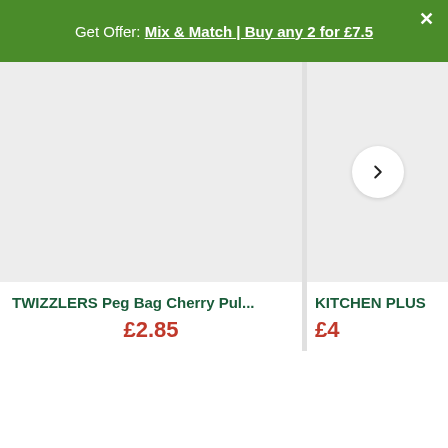Get Offer: Mix & Match | Buy any 2 for £7.5
[Figure (photo): Product image placeholder for TWIZZLERS Peg Bag Cherry Pull item, light grey background]
[Figure (photo): Product image placeholder for KITCHEN PLUS item, light grey background with right arrow navigation button]
TWIZZLERS Peg Bag Cherry Pul...
£2.85
KITCHEN PLUS
£4...